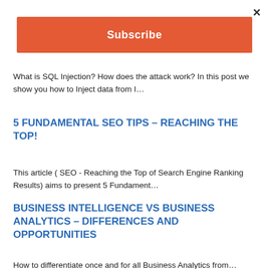×
Subscribe
What is SQL Injection? How does the attack work? In this post we show you how to Inject data from I…
5 FUNDAMENTAL SEO TIPS – REACHING THE TOP!
This article ( SEO - Reaching the Top of Search Engine Ranking Results) aims to present 5 Fundament…
BUSINESS INTELLIGENCE VS BUSINESS ANALYTICS – DIFFERENCES AND OPPORTUNITIES
How to differentiate once and for all Business Analytics from…